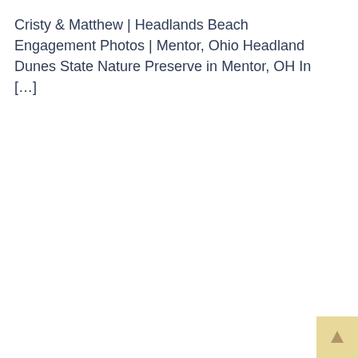Cristy & Matthew | Headlands Beach Engagement Photos | Mentor, Ohio Headland Dunes State Nature Preserve in Mentor, OH In […]